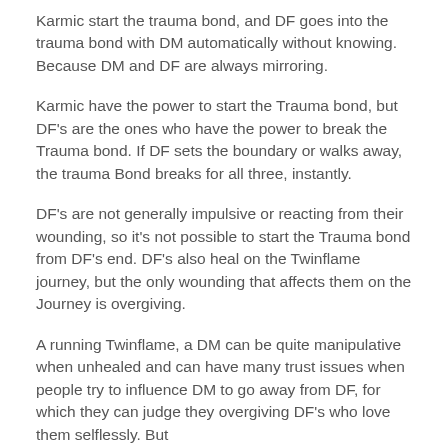Karmic start the trauma bond, and DF goes into the trauma bond with DM automatically without knowing. Because DM and DF are always mirroring.
Karmic have the power to start the Trauma bond, but DF's are the ones who have the power to break the Trauma bond. If DF sets the boundary or walks away, the trauma Bond breaks for all three, instantly.
DF's are not generally impulsive or reacting from their wounding, so it's not possible to start the Trauma bond from DF's end. DF's also heal on the Twinflame journey, but the only wounding that affects them on the Journey is overgiving.
A running Twinflame, a DM can be quite manipulative when unhealed and can have many trust issues when people try to influence DM to go away from DF, for which they can judge they overgiving DF's who love them selflessly. But